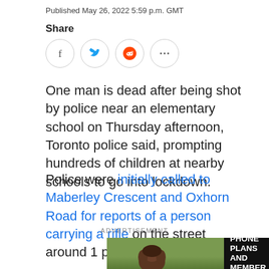Published May 26, 2022 5:59 p.m. GMT
Share
[Figure (infographic): Social share icons: Facebook, Twitter, Reddit, and more (ellipsis)]
One man is dead after being shot by police near an elementary school on Thursday afternoon, Toronto police said, prompting hundreds of children at nearby schools to go into lockdown.
Police were initially called to Maberley Crescent and Oxhorn Road for reports of a person carrying a rifle on the street around 1 p.m.
ADVERTISEMENT
[Figure (photo): Advertisement banner showing a person on green grass with text: SWEET PHONE PLANS AND MEMBER BENEFITS.]